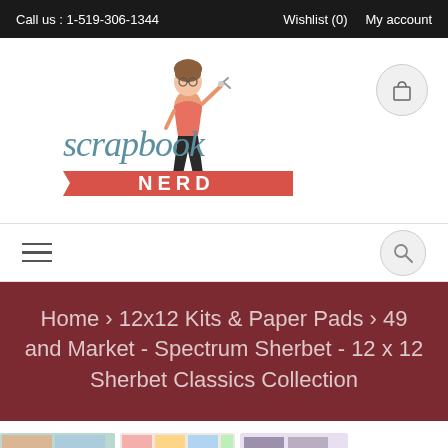Call us : 1-519-306-1344   Wishlist (0)   My account
[Figure (logo): Scrapbook Nerd logo with illustrated woman holding scissors, stylized script text 'scrapbook' above red banner reading 'NERD']
[Figure (other): Shopping cart icon in circular grey button]
[Figure (other): Hamburger menu icon (three horizontal lines)]
[Figure (other): Search/magnifying glass icon in circular grey button]
Home › 12x12 Kits & Paper Pads › 49 and Market - Spectrum Sherbet - 12 x 12 Sherbet Classics Collection
[Figure (photo): Partial product images showing colorful scrapbook paper collection at bottom of page]